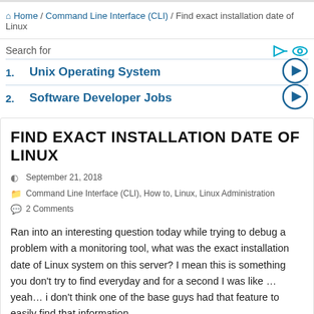Home / Command Line Interface (CLI) / Find exact installation date of Linux
1. Unix Operating System
2. Software Developer Jobs
FIND EXACT INSTALLATION DATE OF LINUX
September 21, 2018
Command Line Interface (CLI), How to, Linux, Linux Administration
2 Comments
Ran into an interesting question today while trying to debug a problem with a monitoring tool, what was the exact installation date of Linux system on this server? I mean this is something you don't try to find everyday and for a second I was like … yeah… i don't think one of the base guys had that feature to easily find that information…